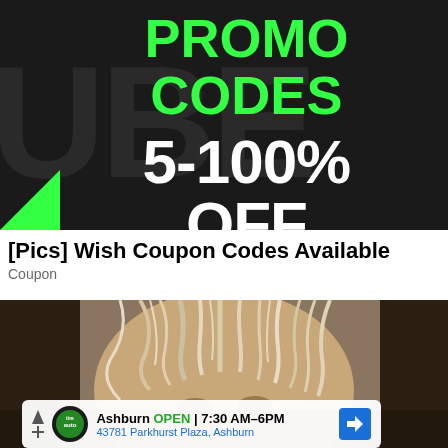[Figure (infographic): Dark background advertisement banner for Wish promo codes. Shows 'PROMO CODES' in large green text and '5-100% OFF' in large white text. Background has faded 'UBER' text. Green corner triangle at bottom left.]
[Pics] Wish Coupon Codes Available
Coupon
[Figure (photo): Close-up photo of a person with disheveled light/blonde hair. In the lower portion, an ad overlay shows a tire auto shop in Ashburn: OPEN 7:30 AM–6PM, 43781 Parkhurst Plaza, Ashburn, with a navigation button.]